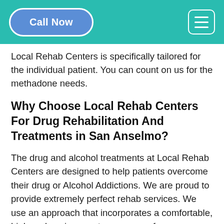Call Now [navigation menu button]
Local Rehab Centers is specifically tailored for the individual patient. You can count on us for the methadone needs.
Why Choose Local Rehab Centers For Drug Rehabilitation And Treatments in San Anselmo?
The drug and alcohol treatments at Local Rehab Centers are designed to help patients overcome their drug or Alcohol Addictions. We are proud to provide extremely perfect rehab services. We use an approach that incorporates a comfortable, high-end environment, so you can focus on your personal goals. We are the most trusted and Reliable Rehabilitation service provider. Addicts need to face and overcome various